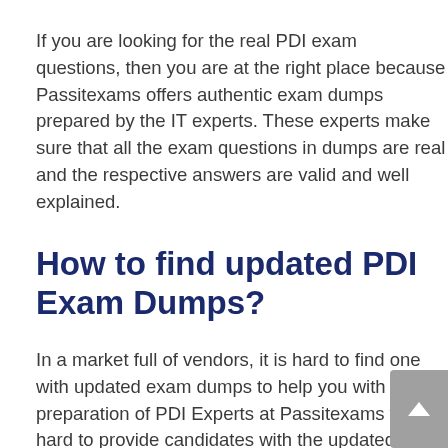If you are looking for the real PDI exam questions, then you are at the right place because Passitexams offers authentic exam dumps prepared by the IT experts. These experts make sure that all the exam questions in dumps are real and the respective answers are valid and well explained.
How to find updated PDI Exam Dumps?
In a market full of vendors, it is hard to find one with updated exam dumps to help you with the preparation of PDI Experts at Passitexams work hard to provide candidates with the updated exam dumps which keep